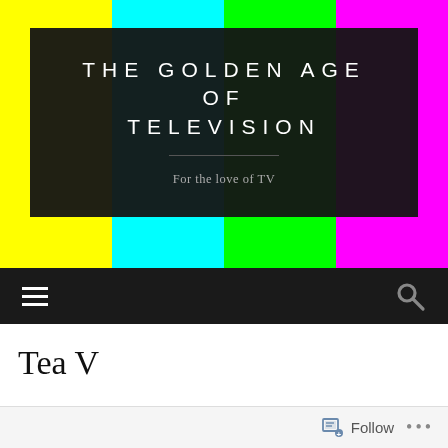[Figure (screenshot): Website header for 'The Golden Age of Television' blog with SMPTE color test bars background (yellow, cyan, green, magenta vertical bars), dark overlay panel containing the site title in large spaced uppercase letters, a horizontal divider, and tagline 'For the love of TV']
[Figure (screenshot): Navigation bar with hamburger menu icon on left and search magnifying glass icon on right, on dark background]
Tea V
[Figure (screenshot): WordPress Follow bar at bottom with follow icon, 'Follow' text, and '...' more options dots]